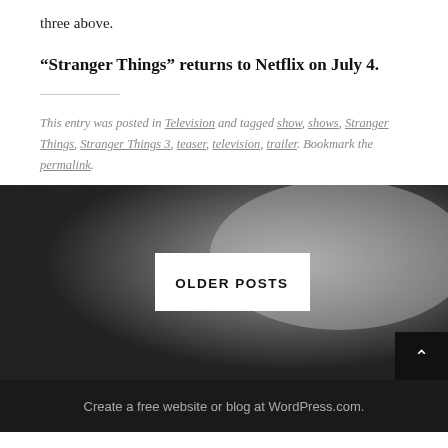three above.
“Stranger Things” returns to Netflix on July 4.
This entry was posted in Television and tagged show, shows, Stranger Things, Stranger Things 3, teaser, television, trailer. Bookmark the permalink.
[Figure (photo): Dark grayscale background image with gradient from black on left to lighter gray on right, containing a white button labeled OLDER POSTS and a black back-to-top arrow button in the bottom right corner.]
Create a free website or blog at WordPress.com.